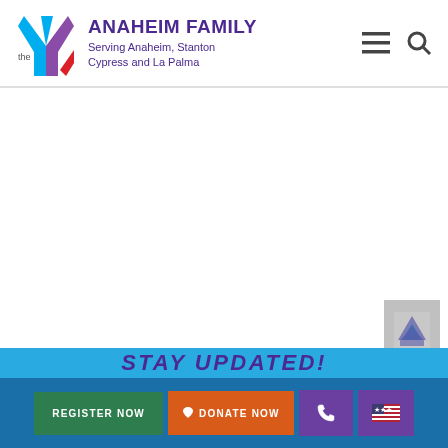ANAHEIM FAMILY – Serving Anaheim, Stanton Cypress and La Palma
[Figure (logo): YMCA logo with blue and purple Y symbol with 'the' text]
STAY UPDATED!
REGISTER NOW
DONATE NOW
[Figure (illustration): Phone icon button]
[Figure (illustration): US flag icon button]